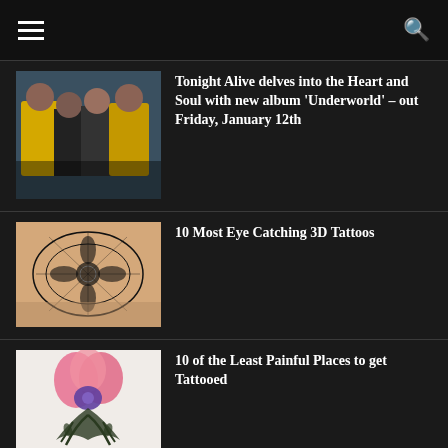☰  🔍
[Figure (photo): Group of four people wearing yellow and dark jackets posing together]
Tonight Alive delves into the Heart and Soul with new album 'Underworld' – out Friday, January 12th
[Figure (photo): Close-up of an intricate 3D tattoo with floral mandala pattern on skin]
10 Most Eye Catching 3D Tattoos
[Figure (photo): Colorful flower tattoo with pink and purple blooms on a person's back/chest area]
10 of the Least Painful Places to get Tattooed